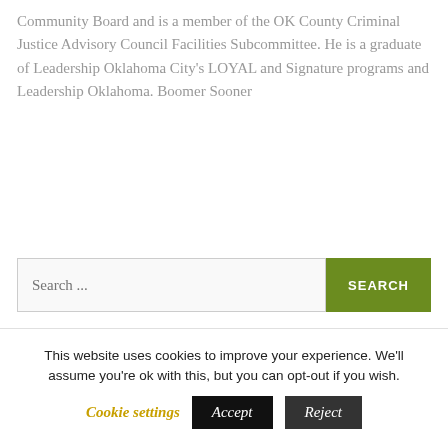Community Board and is a member of the OK County Criminal Justice Advisory Council Facilities Subcommittee. He is a graduate of Leadership Oklahoma City's LOYAL and Signature programs and Leadership Oklahoma. Boomer Sooner
[Figure (other): Search bar with text input field showing placeholder 'Search ...' and a green 'SEARCH' button]
This website uses cookies to improve your experience. We'll assume you're ok with this, but you can opt-out if you wish.
Cookie settings   Accept   Reject